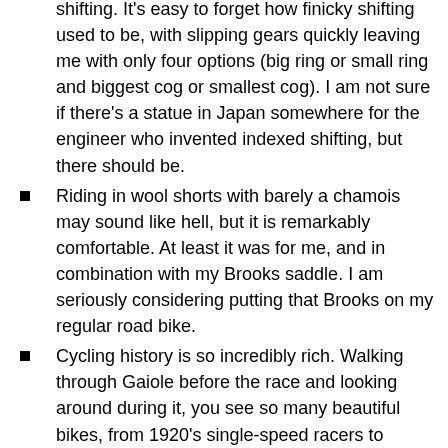shifting. It's easy to forget how finicky shifting used to be, with slipping gears quickly leaving me with only four options (big ring or small ring and biggest cog or smallest cog). I am not sure if there's a statue in Japan somewhere for the engineer who invented indexed shifting, but there should be.
Riding in wool shorts with barely a chamois may sound like hell, but it is remarkably comfortable. At least it was for me, and in combination with my Brooks saddle. I am seriously considering putting that Brooks on my regular road bike.
Cycling history is so incredibly rich. Walking through Gaiole before the race and looking around during it, you see so many beautiful bikes, from 1920's single-speed racers to firefighter bikes (with the hose rolled up inside the front triangle) and from the earliest derailleur models to 1970's Giro winning bikes.